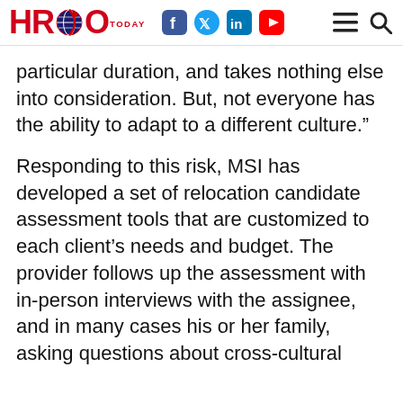HRO TODAY
particular duration, and takes nothing else into consideration. But, not everyone has the ability to adapt to a different culture.”
Responding to this risk, MSI has developed a set of relocation candidate assessment tools that are customized to each client’s needs and budget. The provider follows up the assessment with in-person interviews with the assignee, and in many cases his or her family, asking questions about cross-cultural